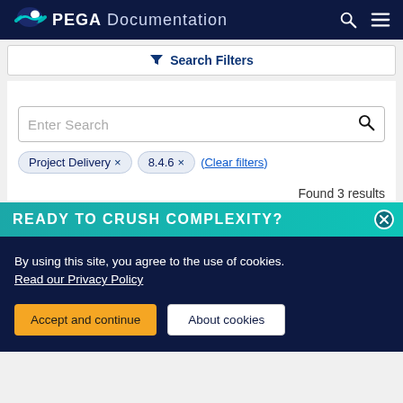PEGA Documentation
Search Filters
[Figure (screenshot): Search input box with placeholder text 'Enter Search' and a magnifying glass icon on the right]
Project Delivery ×   8.4.6 ×   (Clear filters)
Found 3 results
READY TO CRUSH COMPLEXITY?
By using this site, you agree to the use of cookies. Read our Privacy Policy
Accept and continue   About cookies